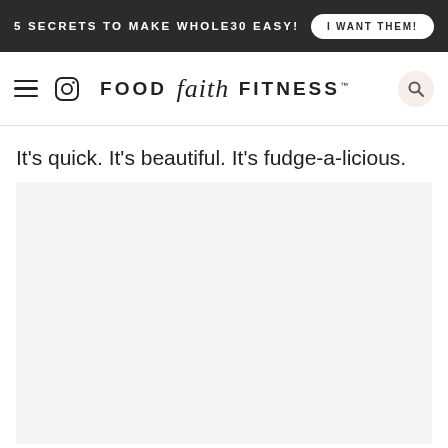5 SECRETS TO MAKE WHOLE30 EASY! | I WANT THEM!
[Figure (logo): Food Faith Fitness logo with hamburger menu, Instagram icon, and search icon in a navigation bar]
It’s quick. It’s beautiful. It’s fudge-a-licious.
[Figure (photo): Light gray image placeholder area below the tagline text]